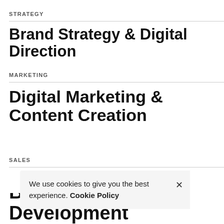STRATEGY
Brand Strategy & Digital Direction
MARKETING
Digital Marketing & Content Creation
SALES
We use cookies to give you the best experience. Cookie Policy
B2B Sales Development